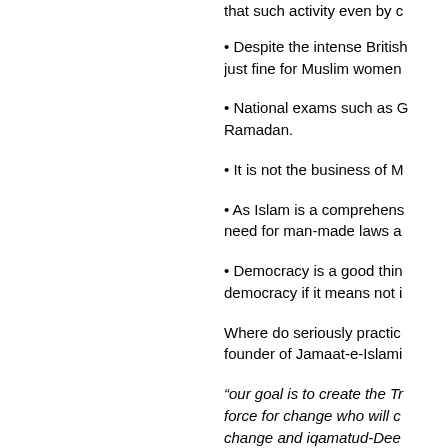that such activity even by c
• Despite the intense British just fine for Muslim women
• National exams such as G Ramadan.
• It is not the business of M
• As Islam is a comprehens need for man-made laws a
• Democracy is a good thin democracy if it means not i
Where do seriously practic founder of Jamaat-e-Islami
“our goal is to create the Tr force for change who will c change and iqamatud-Dee